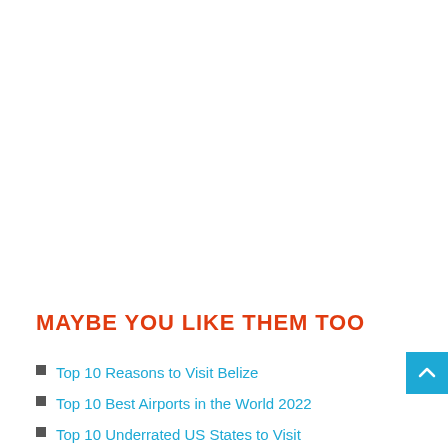MAYBE YOU LIKE THEM TOO
Top 10 Reasons to Visit Belize
Top 10 Best Airports in the World 2022
Top 10 Underrated US States to Visit